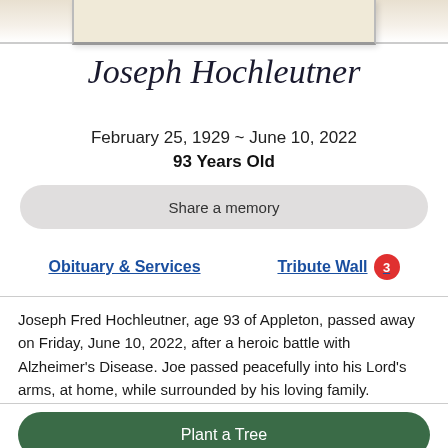[Figure (photo): Partial view of a framed portrait photo at the top of the page]
Joseph Hochleutner
February 25, 1929 ~ June 10, 2022
93 Years Old
Share a memory
Obituary & Services
Tribute Wall 3
Joseph Fred Hochleutner, age 93 of Appleton, passed away on Friday, June 10, 2022, after a heroic battle with Alzheimer's Disease. Joe passed peacefully into his Lord's arms, at home, while surrounded by his loving family.
Plant a Tree